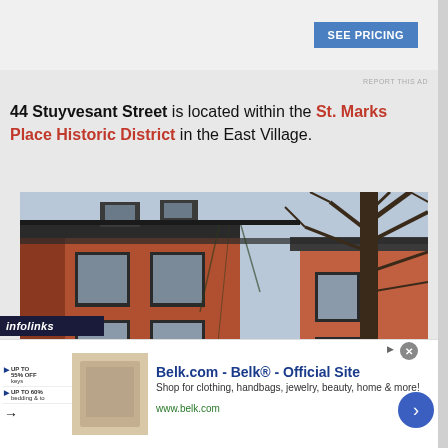[Figure (screenshot): SEE PRICING button (blue) top right area, advertisement header]
REPORT THIS AD
44 Stuyvesant Street is located within the St. Marks Place Historic District in the East Village.
[Figure (photo): Photograph of a red brick building at 44 Stuyvesant Street showing the facade with windows, cornice, and a bare tree in front]
[Figure (screenshot): infolinks advertisement bar at bottom with Belk.com ad: 'Belk.com - Belk® - Official Site', 'Shop for clothing, handbags, jewelry, beauty, home & more!', 'www.belk.com']